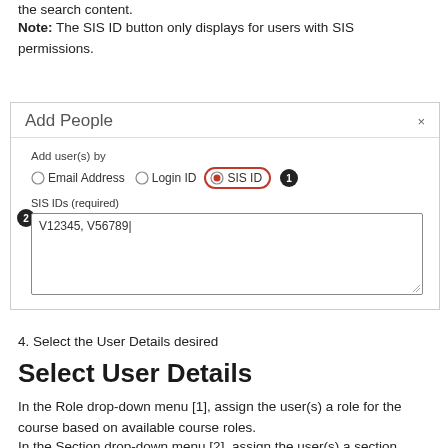the search content.
Note: The SIS ID button only displays for users with SIS permissions.
[Figure (screenshot): Add People dialog box showing radio buttons for Email Address, Login ID, and SIS ID (highlighted with red border), with callout badge 1. Below is a text area labeled 'SIS IDs (required)' with example text 'V12345, V56789|', with callout badge 2.]
4. Select the User Details desired
Select User Details
In the Role drop-down menu [1], assign the user(s) a role for the course based on available course roles.
In the Section drop-down menu [2], assign the user(s) a section